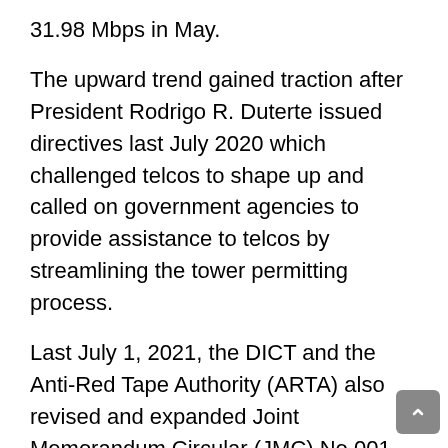31.98 Mbps in May.
The upward trend gained traction after President Rodrigo R. Duterte issued directives last July 2020 which challenged telcos to shape up and called on government agencies to provide assistance to telcos by streamlining the tower permitting process.
Last July 1, 2021, the DICT and the Anti-Red Tape Authority (ARTA) also revised and expanded Joint Memorandum Circular (JMC) No 001, s. 2021 to harmonize the provisions of the original policy and Republic Act No. 11494 or the Bayanihan to Recover as One Act.
The JMC has been instrumental in reducing procedural delays in securing the necessary permits and documentary requirements in the construction of common towers.